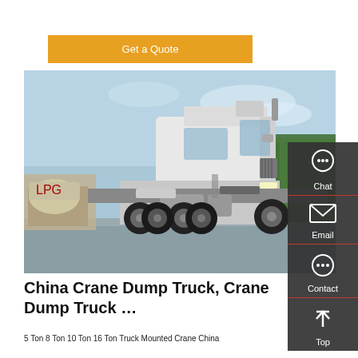Get a Quote
[Figure (photo): Side-view photo of a large white semi-truck / tractor unit with multiple rear axles, parked on a concrete surface with trees and another truck visible in the background under a partly cloudy sky.]
China Crane Dump Truck, Crane Dump Truck …
5 Ton 8 Ton 10 Ton 16 Ton Truck Mounted Crane China